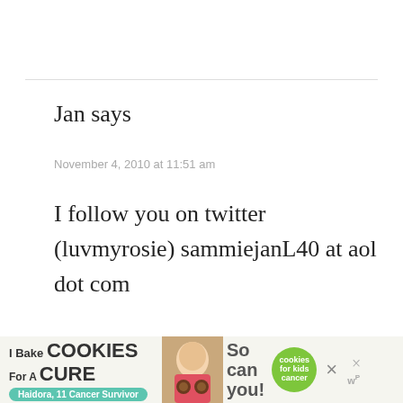Jan says
November 4, 2010 at 11:51 am
I follow you on twitter (luvmyrosie) sammiejanL40 at aol dot com
http://twitter.com/luvmyrosie/st
[Figure (infographic): Advertisement banner: 'I Bake COOKIES For A CURE' with photo of girl, 'So can you!' text and cookies for kids cancer green circle badge, with close X button and w+ logo]